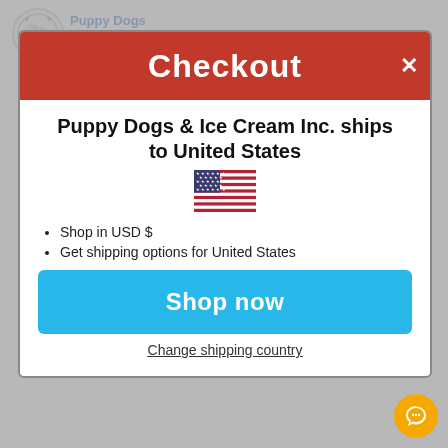[Figure (screenshot): Puppy Dogs & Ice Cream Publishing logo — circular logo with dog illustration]
Puppy Dogs & Ice Cream PUBLISHING
series, Zen Pig shows what it looks like to peacefully protest and care for
[Figure (illustration): American flag emoji/illustration]
Teach your child the importance of equality and social values!
Puppy Dogs & Ice Cream Inc. ships to United States
"Even though some look different than others, We are all part of the beautiful whole. Being unkind is never the answer, Lifting each other up is our role."
Shop in USD $
Get shipping options for United States
Shop now
Change shipping country